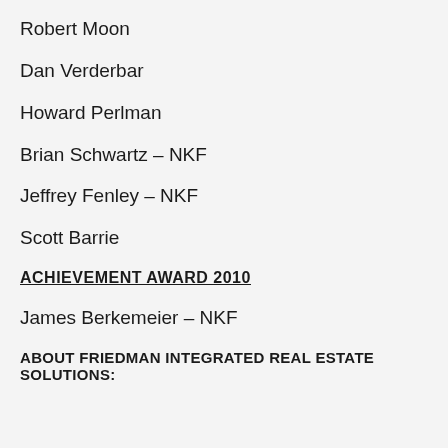Robert Moon
Dan Verderbar
Howard Perlman
Brian Schwartz – NKF
Jeffrey Fenley – NKF
Scott Barrie
ACHIEVEMENT AWARD 2010
James Berkemeier – NKF
ABOUT FRIEDMAN INTEGRATED REAL ESTATE SOLUTIONS: